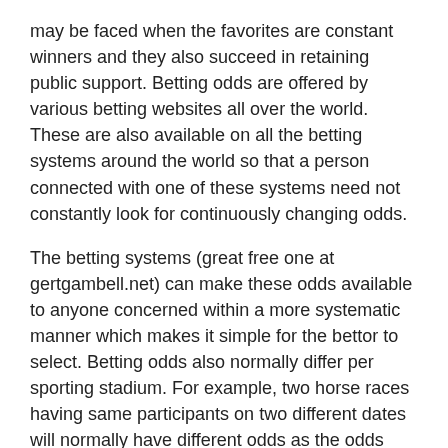may be faced when the favorites are constant winners and they also succeed in retaining public support. Betting odds are offered by various betting websites all over the world. These are also available on all the betting systems around the world so that a person connected with one of these systems need not constantly look for continuously changing odds.
The betting systems (great free one at gertgambell.net) can make these odds available to anyone concerned within a more systematic manner which makes it simple for the bettor to select. Betting odds also normally differ per sporting stadium. For example, two horse races having same participants on two different dates will normally have different odds as the odds greatly depend on the general public participation which always differs from place to place. Another point which a person must have in mind while betting is that patience and experience are the two most important factors governing profit and loss in the profession.
Online sports betting odds is thus the most important and